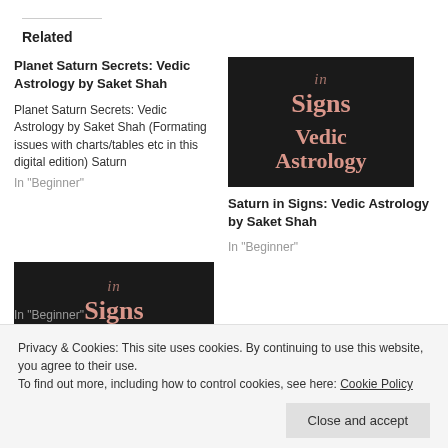Related
Planet Saturn Secrets: Vedic Astrology by Saket Shah
Planet Saturn Secrets: Vedic Astrology by Saket Shah (Formating issues with charts/tables etc in this digital edition) Saturn
In "Beginner"
[Figure (illustration): Book cover with dark background showing text 'in Signs Vedic Astrology' in pink/salmon colored text]
Saturn in Signs: Vedic Astrology by Saket Shah
In "Beginner"
[Figure (illustration): Partial book cover with dark background showing text 'in Signs Vedic' in pink/salmon colored text (bottom cropped)]
In "Beginner"
Privacy & Cookies: This site uses cookies. By continuing to use this website, you agree to their use.
To find out more, including how to control cookies, see here: Cookie Policy
Close and accept